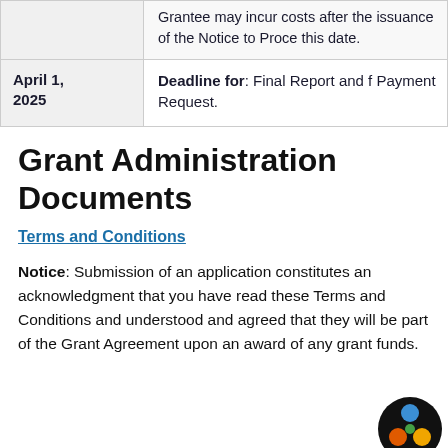| Date | Description |
| --- | --- |
|  | Grantee may incur costs after the issuance of the Notice to Proceed this date. |
| April 1, 2025 | Deadline for: Final Report and Final Payment Request. |
Grant Administration Documents
Terms and Conditions
Notice: Submission of an application constitutes an acknowledgment that you have read these Terms and Conditions and understood and agreed that they will be part of the Grant Agreement upon an award of any grant funds.